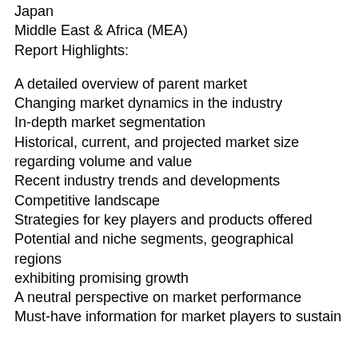Japan
Middle East & Africa (MEA)
Report Highlights:
A detailed overview of parent market
Changing market dynamics in the industry
In-depth market segmentation
Historical, current, and projected market size regarding volume and value
Recent industry trends and developments
Competitive landscape
Strategies for key players and products offered
Potential and niche segments, geographical regions exhibiting promising growth
A neutral perspective on market performance
Must-have information for market players to sustain